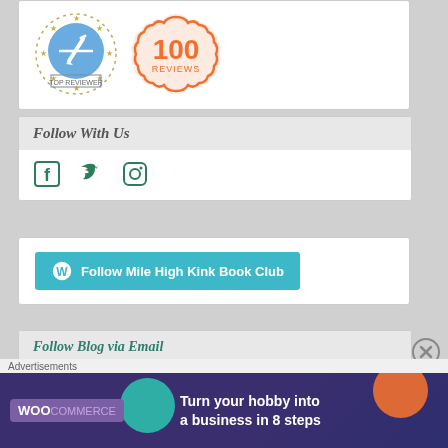[Figure (illustration): Top Reviewer badge (blue circular badge with pencil icon and stars) and 100 Reviews badge (orange scalloped badge)]
Follow With Us
[Figure (illustration): Social media icons: Facebook, Twitter, Instagram in dark teal/green color]
[Figure (illustration): WordPress Follow button: 'Follow Mile High Kink Book Club' in teal color]
Follow Blog via Email
Enter your email address to follow this blog and receive notifications of new posts by email.
Advertisements
[Figure (illustration): WooCommerce advertisement banner: 'Turn your hobby into a business in 8 steps' on dark purple background with teal and orange shapes]